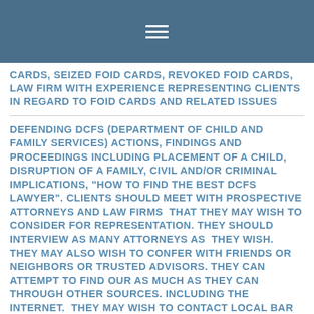CARDS, SEIZED FOID CARDS, REVOKED FOID CARDS, LAW FIRM WITH EXPERIENCE REPRESENTING CLIENTS IN REGARD TO FOID CARDS AND RELATED ISSUES
DEFENDING DCFS (DEPARTMENT OF CHILD AND FAMILY SERVICES) ACTIONS, FINDINGS AND PROCEEDINGS INCLUDING PLACEMENT OF A CHILD, DISRUPTION OF A FAMILY, CIVIL AND/OR CRIMINAL IMPLICATIONS, "HOW TO FIND THE BEST DCFS LAWYER". CLIENTS SHOULD MEET WITH PROSPECTIVE ATTORNEYS AND LAW FIRMS THAT THEY MAY WISH TO CONSIDER FOR REPRESENTATION. THEY SHOULD INTERVIEW AS MANY ATTORNEYS AS THEY WISH. THEY MAY ALSO WISH TO CONFER WITH FRIENDS OR NEIGHBORS OR TRUSTED ADVISORS. THEY CAN ATTEMPT TO FIND OUR AS MUCH AS THEY CAN THROUGH OTHER SOURCES. INCLUDING THE INTERNET. THEY MAY WISH TO CONTACT LOCAL BAR ASSOCIATIONS. THERE MAY BE LISTINGS IN